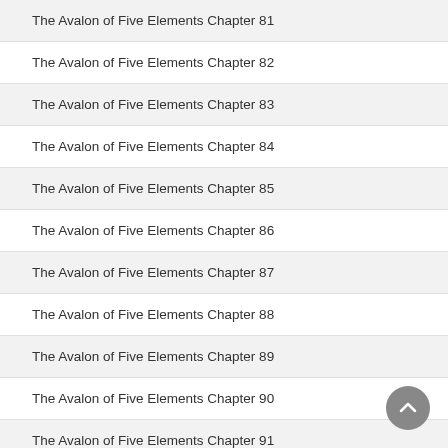The Avalon of Five Elements Chapter 81
The Avalon of Five Elements Chapter 82
The Avalon of Five Elements Chapter 83
The Avalon of Five Elements Chapter 84
The Avalon of Five Elements Chapter 85
The Avalon of Five Elements Chapter 86
The Avalon of Five Elements Chapter 87
The Avalon of Five Elements Chapter 88
The Avalon of Five Elements Chapter 89
The Avalon of Five Elements Chapter 90
The Avalon of Five Elements Chapter 91
The Avalon of Five Elements Chapter ...